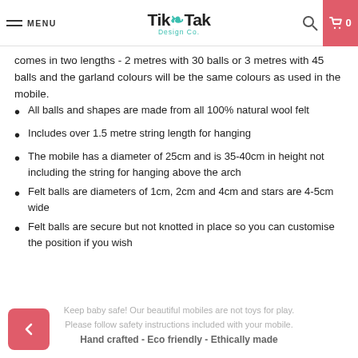MENU | TikTak Design Co.
comes in two lengths - 2 metres with 30 balls or 3 metres with 45 balls and the garland colours will be the same colours as used in the mobile.
All balls and shapes are made from all 100% natural wool felt
Includes over 1.5 metre string length for hanging
The mobile has a diameter of 25cm and is 35-40cm in height not including the string for hanging above the arch
Felt balls are diameters of 1cm, 2cm and 4cm and stars are 4-5cm wide
Felt balls are secure but not knotted in place so you can customise the position if you wish
Keep baby safe! Our beautiful mobiles are not toys for play. Please follow safety instructions included with your mobile. Hand crafted - Eco friendly - Ethically made